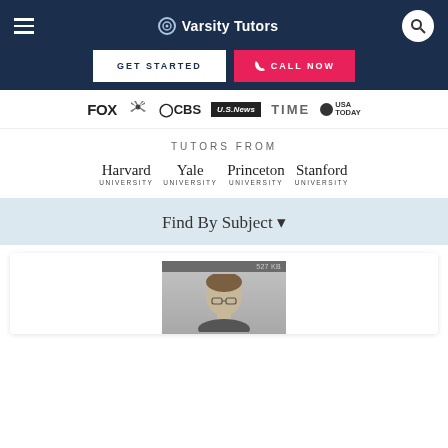Varsity Tutors
GET STARTED   CALL NOW
[Figure (logo): Media logos: FOX, NBC, CBS, U.S. News, TIME, USA TODAY]
TUTORS FROM
Harvard UNIVERSITY   Yale UNIVERSITY   Princeton UNIVERSITY   Stanford UNIVERSITY
Find By Subject ▾
[Figure (photo): Tutor profile photo of a man with glasses, 527 KB label at top]